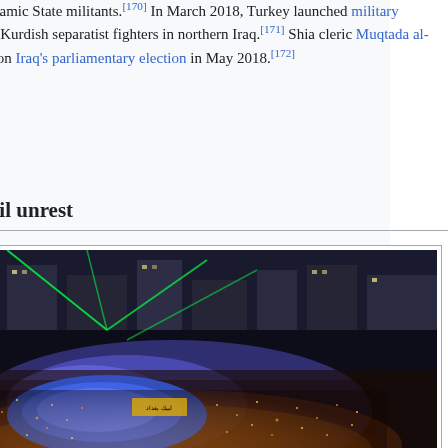borders with Syria from Islamic State militants.[170] In March 2018, Turkey launched military operations to eliminate the Kurdish separatist fighters in northern Iraq.[171] Shia cleric Muqtada al-Sadr's political coalition won Iraq's parliamentary election in May 2018.[172]
2019–present: Civil unrest
[Figure (photo): Aerial night photograph of a massive crowd protest in Baghdad, November 2019, with green and blue lights illuminating the crowd filling a large public square.]
Protest in Baghdad in November 2019. The protests were the largest incident of civil unrest Iraq has experienced since the 2003 invasion.[173]
Serious civil unrest rocked the country